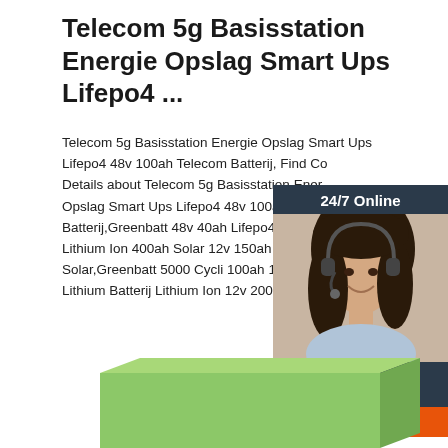Telecom 5g Basisstation Energie Opslag Smart Ups Lifepo4 ...
Telecom 5g Basisstation Energie Opslag Smart Ups Lifepo4 48v 100ah Telecom Batterij, Find Complete Details about Telecom 5g Basisstation Energie Opslag Smart Ups Lifepo4 48v 100ah Telecom Batterij,Greenbatt 48v 40ah Lifepo4 Batterij Lithium Ion 400ah Solar 12v 150ah Vision B Solar,Greenbatt 5000 Cycli 100ah 12v Lifep Lithium Batterij Lithium Ion 12v 200ah Prijs
[Figure (photo): Customer service agent with headset, smiling, shown in a dark-background chat widget. Widget shows '24/7 Online' label, agent photo, 'Click here for free chat!' text, and 'QUOTATION' button in orange.]
[Figure (illustration): Green rectangular box/battery product shown from a slight angle at the bottom of the page, suggesting a physical battery product.]